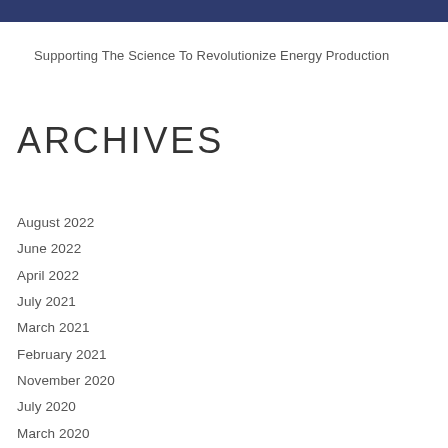Supporting The Science To Revolutionize Energy Production
ARCHIVES
August 2022
June 2022
April 2022
July 2021
March 2021
February 2021
November 2020
July 2020
March 2020
October 2019
June 2019
April 2019